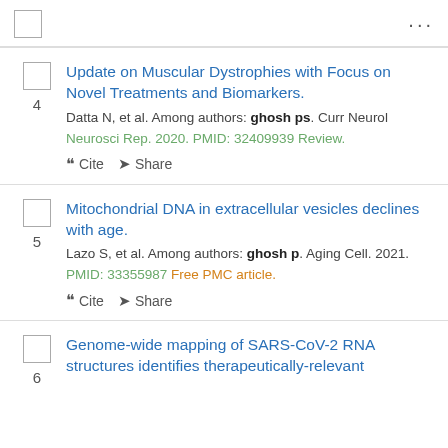...
4. Update on Muscular Dystrophies with Focus on Novel Treatments and Biomarkers. Datta N, et al. Among authors: ghosh ps. Curr Neurol Neurosci Rep. 2020. PMID: 32409939 Review.
5. Mitochondrial DNA in extracellular vesicles declines with age. Lazo S, et al. Among authors: ghosh p. Aging Cell. 2021. PMID: 33355987 Free PMC article.
6. Genome-wide mapping of SARS-CoV-2 RNA structures identifies therapeutically-relevant